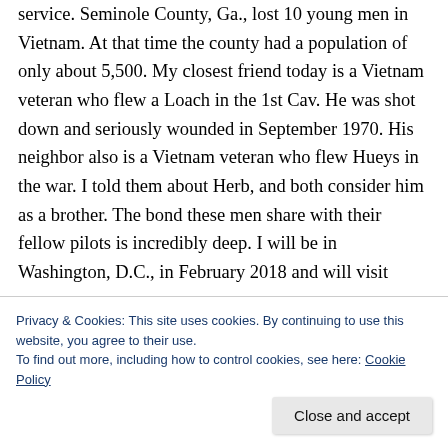service. Seminole County, Ga., lost 10 young men in Vietnam. At that time the county had a population of only about 5,500. My closest friend today is a Vietnam veteran who flew a Loach in the 1st Cav. He was shot down and seriously wounded in September 1970. His neighbor also is a Vietnam veteran who flew Hueys in the war. I told them about Herb, and both consider him as a brother. The bond these men share with their fellow pilots is incredibly deep. I will be in Washington, D.C., in February 2018 and will visit
Privacy & Cookies: This site uses cookies. By continuing to use this website, you agree to their use.
To find out more, including how to control cookies, see here: Cookie Policy
Close and accept